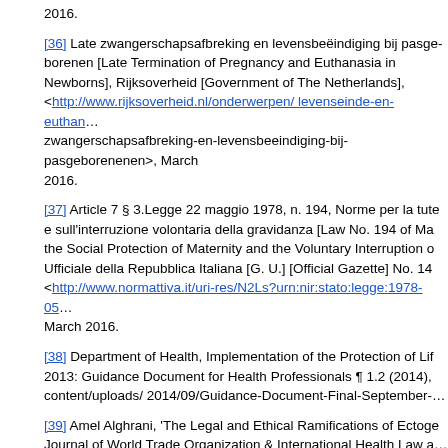2016.
[36] Late zwangerschapsafbreking en levensbeëindiging bij pasgeborenen [Late Termination of Pregnancy and Euthanasia in Newborns], Rijksoverheid [Government of The Netherlands], <http://www.rijksoverheid.nl/onderwerpen/ levenseinde-en-euthanasie/late-zwangerschapsafbreking-en-levensbeeindiging-bij-pasgeborenen>, March 2016.
[37] Article 7 § 3.Legge 22 maggio 1978, n. 194, Norme per la tutela sociale della maternità e sull'interruzione volontaria della gravidanza [Law No. 194 of May 22, 1978, Regulations for the Social Protection of Maternity and the Voluntary Interruption of Pregnancy], Gazzetta Ufficiale della Repubblica Italiana [G. U.] [Official Gazette] No. 140 (1978), <http://www.normattiva.it/uri-res/N2Ls?urn:nir:stato:legge:1978-05-22;194>, last visited March 2016.
[38] Department of Health, Implementation of the Protection of Life During Pregnancy Act 2013: Guidance Document for Health Professionals ¶ 1.2 (2014), http://health.gov.ie/wp-content/uploads/ 2014/09/Guidance-Document-Final-September-.
[39] Amel Alghrani, 'The Legal and Ethical Ramifications of Ectogenesis' (2007) 2(1) Asian Journal of World Trade Organization & International Health Law a
[40] See, for example Boso v Italy, no. 50490/99, 5 September 20
[41] See Brüggemann and Scheuten v Germany, No. 6959/75, Co July 1977, DR 10, 100.